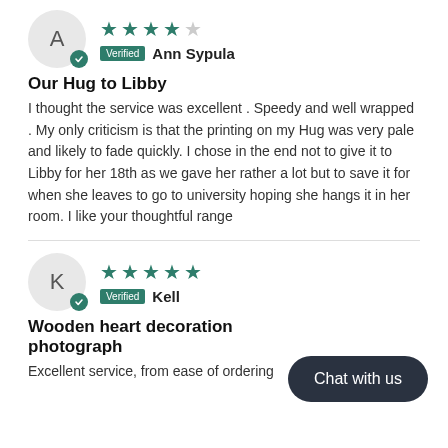★★★★☆ Verified Ann Sypula
Our Hug to Libby
I thought the service was excellent . Speedy and well wrapped . My only criticism is that the printing on my Hug was very pale and likely to fade quickly. I chose in the end not to give it to Libby for her 18th as we gave her rather a lot but to save it for when she leaves to go to university hoping she hangs it in her room. I like your thoughtful range
★★★★★ Verified Kell
Wooden heart decoration photograph
Excellent service, from ease of ordering
Chat with us